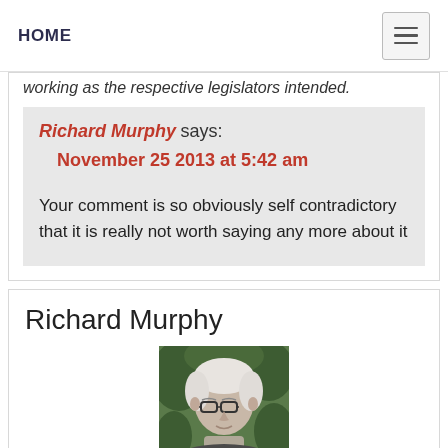HOME
working as the respective legislators intended.
Richard Murphy says: November 25 2013 at 5:42 am
Your comment is so obviously self contradictory that it is really not worth saying any more about it
Richard Murphy
[Figure (photo): Portrait photo of Richard Murphy, an older man with white hair and glasses, photographed outdoors against a leafy background]